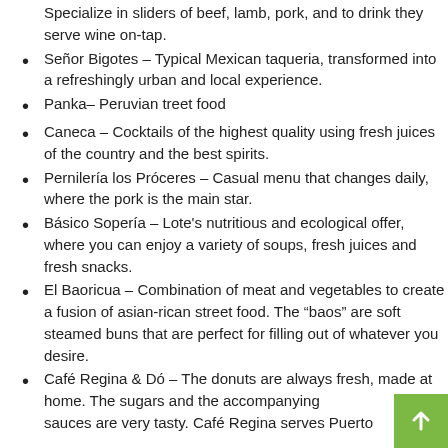Specialize in sliders of beef, lamb, pork, and to drink they serve wine on-tap.
Señor Bigotes – Typical Mexican taqueria, transformed into a refreshingly urban and local experience.
Panka– Peruvian treet food
Caneca – Cocktails of the highest quality using fresh juices of the country and the best spirits.
Pernilería los Próceres – Casual menu that changes daily, where the pork is the main star.
Básico Sopería – Lote's nutritious and ecological offer, where you can enjoy a variety of soups, fresh juices and fresh snacks.
El Baoricua – Combination of meat and vegetables to create a fusion of asian-rican street food. The “baos” are soft steamed buns that are perfect for filling out of whatever you desire.
Café Regina & Dó – The donuts are always fresh, made at home. The sugars and the accompanying sauces are very tasty. Café Regina serves Puerto